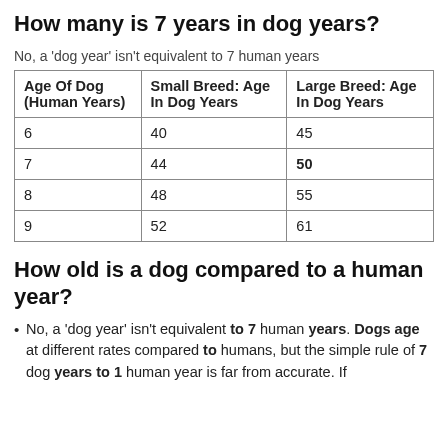How many is 7 years in dog years?
No, a 'dog year' isn't equivalent to 7 human years
| Age Of Dog (Human Years) | Small Breed: Age In Dog Years | Large Breed: Age In Dog Years |
| --- | --- | --- |
| 6 | 40 | 45 |
| 7 | 44 | 50 |
| 8 | 48 | 55 |
| 9 | 52 | 61 |
How old is a dog compared to a human year?
No, a 'dog year' isn't equivalent to 7 human years. Dogs age at different rates compared to humans, but the simple rule of 7 dog years to 1 human year is far from accurate. If